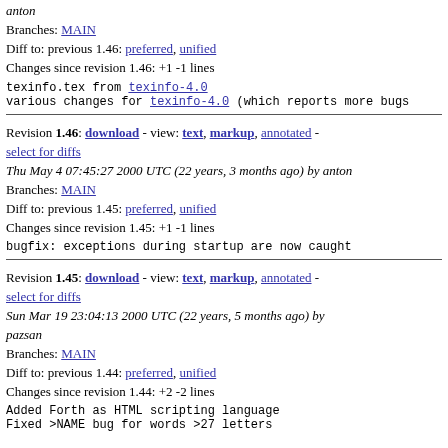anton
Branches: MAIN
Diff to: previous 1.46: preferred, unified
Changes since revision 1.46: +1 -1 lines
texinfo.tex from texinfo-4.0
various changes for texinfo-4.0 (which reports more bugs
Revision 1.46: download - view: text, markup, annotated - select for diffs
Thu May 4 07:45:27 2000 UTC (22 years, 3 months ago) by anton
Branches: MAIN
Diff to: previous 1.45: preferred, unified
Changes since revision 1.45: +1 -1 lines
bugfix: exceptions during startup are now caught
Revision 1.45: download - view: text, markup, annotated - select for diffs
Sun Mar 19 23:04:13 2000 UTC (22 years, 5 months ago) by pazsan
Branches: MAIN
Diff to: previous 1.44: preferred, unified
Changes since revision 1.44: +2 -2 lines
Added Forth as HTML scripting language
Fixed >NAME bug for words >27 letters